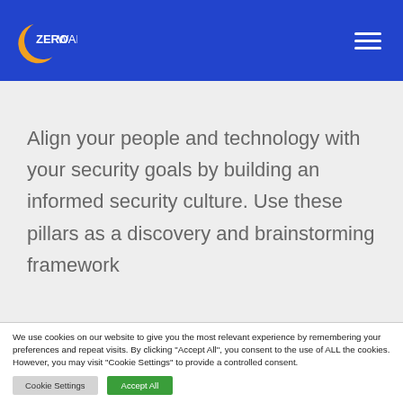ZEROWALL
Align your people and technology with your security goals by building an informed security culture. Use these pillars as a discovery and brainstorming framework
We use cookies on our website to give you the most relevant experience by remembering your preferences and repeat visits. By clicking "Accept All", you consent to the use of ALL the cookies. However, you may visit "Cookie Settings" to provide a controlled consent.